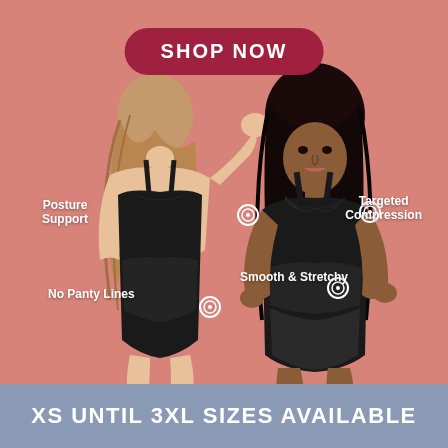[Figure (photo): Advertisement image showing two women wearing black shapewear bodysuits on a salmon/coral pink background. Left model faces away showing back detail, right model faces forward. Feature callout labels with target icons point to: Posture Support, No Panty Lines, Targeted Compression, Smooth & Stretchy.]
SHOP NOW
Posture Support
No Panty Lines
Targeted Compression
Smooth & Stretchy
XS UNTIL 3XL SIZES AVAILABLE